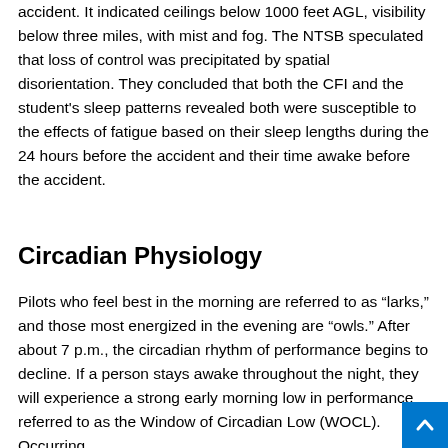accident. It indicated ceilings below 1000 feet AGL, visibility below three miles, with mist and fog. The NTSB speculated that loss of control was precipitated by spatial disorientation. They concluded that both the CFI and the student's sleep patterns revealed both were susceptible to the effects of fatigue based on their sleep lengths during the 24 hours before the accident and their time awake before the accident.
Circadian Physiology
Pilots who feel best in the morning are referred to as “larks,” and those most energized in the evening are “owls.” After about 7 p.m., the circadian rhythm of performance begins to decline. If a person stays awake throughout the night, they will experience a strong early morning low in performance referred to as the Window of Circadian Low (WOCL). Occurring